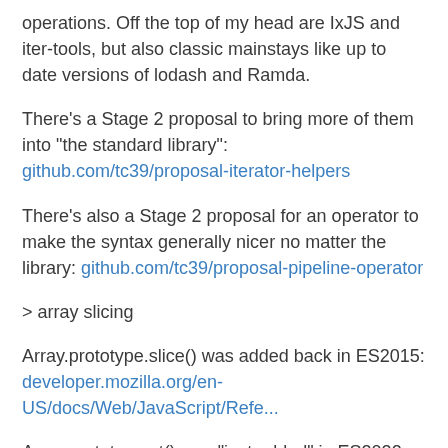operations. Off the top of my head are IxJS and iter-tools, but also classic mainstays like up to date versions of lodash and Ramda.
There's a Stage 2 proposal to bring more of them into "the standard library": github.com/tc39/proposal-iterator-helpers
There's also a Stage 2 proposal for an operator to make the syntax generally nicer no matter the library: github.com/tc39/proposal-pipeline-operator
> array slicing
Array.prototype.slice() was added back in ES2015: developer.mozilla.org/en-US/docs/Web/JavaScript/Refe...
Array.prototype.at() was "just added" in ES2022 for unary "slice" (ability to use negative indexes):